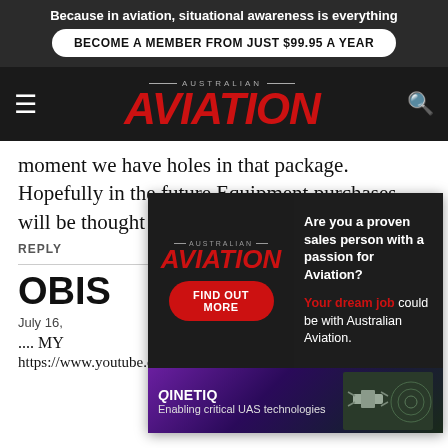Because in aviation, situational awareness is everything
BECOME A MEMBER FROM JUST $99.95 A YEAR
[Figure (logo): Australian Aviation magazine logo with red italic AVIATION text on dark background with hamburger menu and search icon]
moment we have holes in that package. Hopefully in the future Equipment purchases will be thought about
[Figure (infographic): Job advertisement for Australian Aviation showing 'Are you a proven sales person with a passion for Aviation? FIND OUT MORE. Your dream job could be with Australian Aviation.' with Aviation logo]
[Figure (infographic): QinetiQ advertisement showing 'Enabling critical UAS technologies' with purple/dark background and drone imagery]
REPLY
OBIS
July 16,
.... MY
https://www.youtube.com/watch?v=snf7ZL9Bu4k